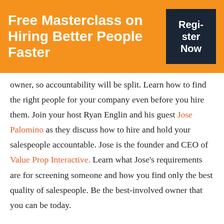Free Masterclass on Hiring Better People Faster
owner, so accountability will be split. Learn how to find the right people for your company even before you hire them. Join your host Ryan Englin and his guest Jose Palomino as they discuss how to hire and hold your salespeople accountable. Jose is the founder and CEO of Value Prop Interactive. Learn what Jose's requirements are for screening someone and how you find only the best quality of salespeople. Be the best-involved owner that you can be today.